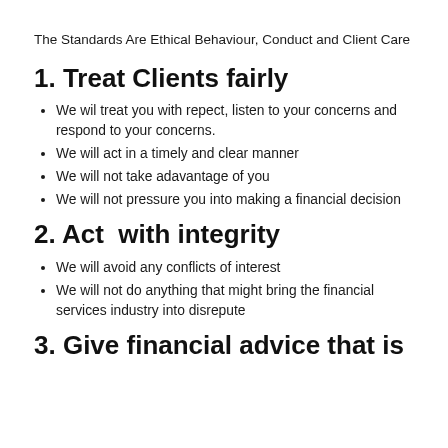The Standards Are Ethical Behaviour, Conduct and Client Care
1. Treat Clients fairly
We wil treat you with repect, listen to your concerns and respond to your concerns.
We will act in a timely and clear manner
We will not take adavantage of you
We will not pressure you into making a financial decision
2. Act  with integrity
We will avoid any conflicts of interest
We will not do anything that might bring the financial services industry into disrepute
3. Give financial advice that is